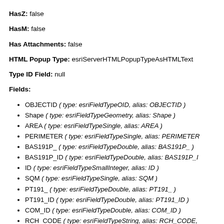HasZ: false
HasM: false
Has Attachments: false
HTML Popup Type: esriServerHTMLPopupTypeAsHTMLText
Type ID Field: null
Fields:
OBJECTID ( type: esriFieldTypeOID, alias: OBJECTID )
Shape ( type: esriFieldTypeGeometry, alias: Shape )
AREA ( type: esriFieldTypeSingle, alias: AREA )
PERIMETER ( type: esriFieldTypeSingle, alias: PERIMETER )
BAS191P_ ( type: esriFieldTypeDouble, alias: BAS191P_ )
BAS191P_ID ( type: esriFieldTypeDouble, alias: BAS191P_ID )
ID ( type: esriFieldTypeSmallInteger, alias: ID )
SQM ( type: esriFieldTypeSingle, alias: SQM )
PT191_ ( type: esriFieldTypeDouble, alias: PT191_ )
PT191_ID ( type: esriFieldTypeDouble, alias: PT191_ID )
COM_ID ( type: esriFieldTypeDouble, alias: COM_ID )
RCH_CODE ( type: esriFieldTypeString, alias: RCH_CODE,